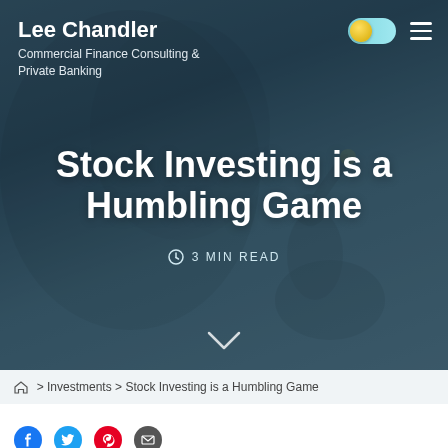Lee Chandler
Commercial Finance Consulting & Private Banking
Stock Investing is a Humbling Game
3 MIN READ
🏠 > Investments > Stock Investing is a Humbling Game
[Figure (other): Four social media share buttons: Facebook (blue), Twitter (light blue), Pinterest (red), Email (grey)]